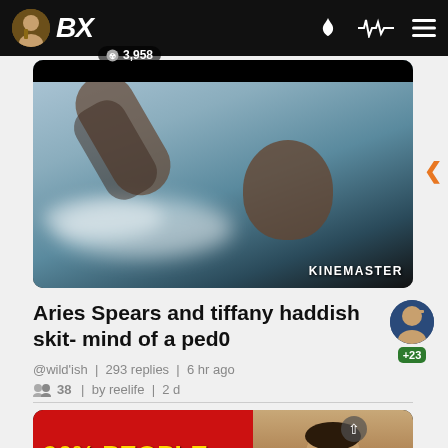BX | 3,958
[Figure (screenshot): Video thumbnail showing a person with tattoos, with KINEMASTER watermark in bottom right]
Aries Spears and tiffany haddish skit- mind of a ped0
@wild'ish | 293 replies | 6 hr ago
38 | by reelife | 2 d
[Figure (screenshot): Video thumbnail with red background showing '96% PEOPLE DRINK WATER' in large yellow text, with a man's face on the right side]